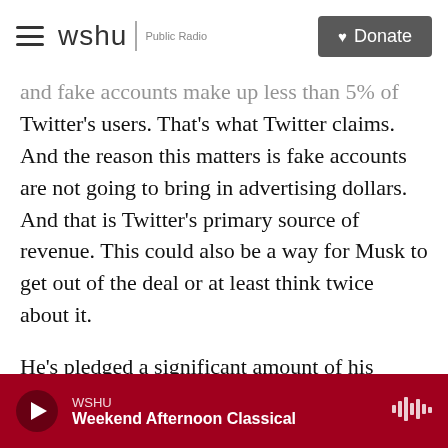wshu | Public Radio  [Donate]
and fake accounts make up less than 5% of Twitter's users. That's what Twitter claims. And the reason this matters is fake accounts are not going to bring in advertising dollars. And that is Twitter's primary source of revenue. This could also be a way for Musk to get out of the deal or at least think twice about it.
He's pledged a significant amount of his personal fortune to be able to make the deal. And Twitter's a company that has struggled to make a profit. Of course, Elon Musk is known to be unpredictable and prone to changing his mind about things, Steve. In a subsequent statement, a subsequent
WSHU  Weekend Afternoon Classical